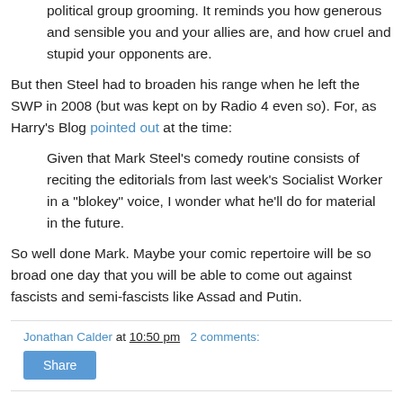political group grooming. It reminds you how generous and sensible you and your allies are, and how cruel and stupid your opponents are.
But then Steel had to broaden his range when he left the SWP in 2008 (but was kept on by Radio 4 even so). For, as Harry's Blog pointed out at the time:
Given that Mark Steel's comedy routine consists of reciting the editorials from last week's Socialist Worker in a "blokey" voice, I wonder what he'll do for material in the future.
So well done Mark. Maybe your comic repertoire will be so broad one day that you will be able to come out against fascists and semi-fascists like Assad and Putin.
Jonathan Calder at 10:50 pm   2 comments:
Share
Friday, December 11, 2015